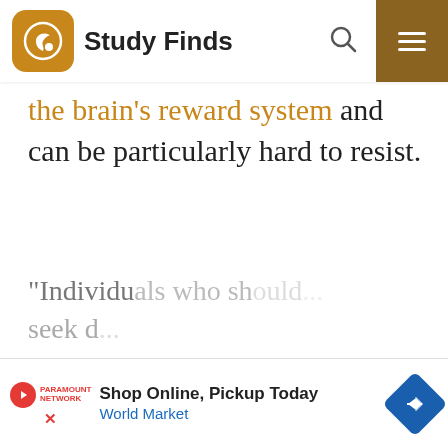Study Finds
the brain's reward system and can be particularly hard to resist.
“Individuals who seek d
[Figure (other): Advertisement banner: Shop Online, Pickup Today - World Market with navigation arrow icon]